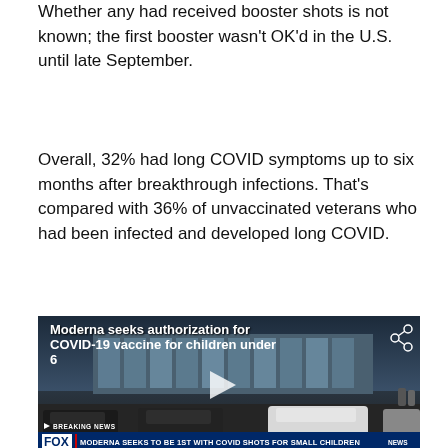Whether any had received booster shots is not known; the first booster wasn't OK'd in the U.S. until late September.
Overall, 32% had long COVID symptoms up to six months after breakthrough infections. That's compared with 36% of unvaccinated veterans who had been infected and developed long COVID.
[Figure (screenshot): Fox News video screenshot showing a building exterior with cars in parking lot. Video title overlay reads 'Moderna seeks authorization for COVID-19 vaccine for children under 6'. Fox News breaking news ticker at bottom reads 'MODERNA SEEKS TO BE 1ST WITH COVID SHOTS FOR SMALL CHILDREN'. Sub-ticker shows 'SERVICE OF LATE SECRETARY OF STATE MADELEINE ALBRIGHT' and 'NEW YOR'. Timestamp shows 7:16 AM CT.]